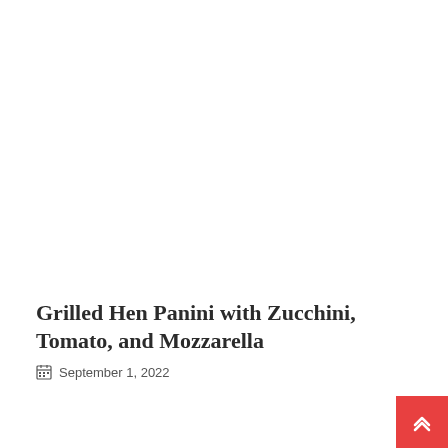Grilled Hen Panini with Zucchini, Tomato, and Mozzarella
September 1, 2022